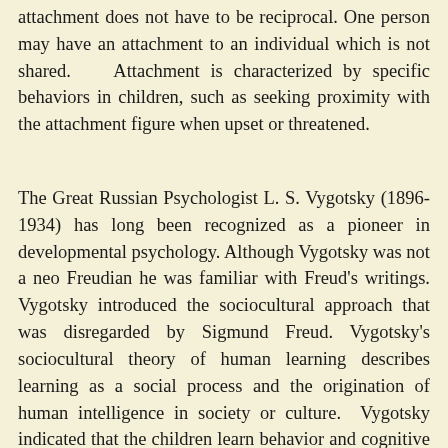attachment does not have to be reciprocal. One person may have an attachment to an individual which is not shared. Attachment is characterized by specific behaviors in children, such as seeking proximity with the attachment figure when upset or threatened.
The Great Russian Psychologist L. S. Vygotsky (1896-1934) has long been recognized as a pioneer in developmental psychology. Although Vygotsky was not a neo Freudian he was familiar with Freud's writings. Vygotsky introduced the sociocultural approach that was disregarded by Sigmund Freud. Vygotsky's sociocultural theory of human learning describes learning as a social process and the origination of human intelligence in society or culture. Vygotsky indicated that the children learn behavior and cognitive skills by dealing with more experienced people, such as teachers or older siblings. According to Vygotsky, learning has its basis in interacting with other people. Once this has occurred, the information is then integrated on the individual level. Vygotsky focused on several different domains of